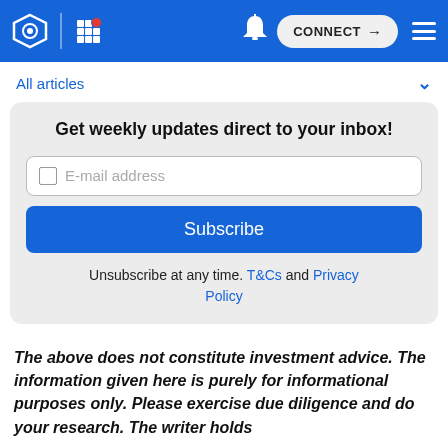Navigation bar with logo, grid menu, bell notification, CONNECT button, and hamburger menu
All articles
Get weekly updates direct to your inbox!
E-mail address
Subscribe
Unsubscribe at any time. T&Cs and Privacy Policy
The above does not constitute investment advice. The information given here is purely for informational purposes only. Please exercise due diligence and do your research. The writer holds